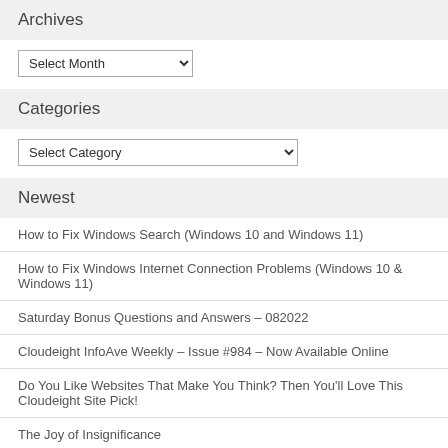Archives
Select Month (dropdown)
Categories
Select Category (dropdown)
Newest
How to Fix Windows Search (Windows 10 and Windows 11)
How to Fix Windows Internet Connection Problems (Windows 10 & Windows 11)
Saturday Bonus Questions and Answers – 082022
Cloudeight InfoAve Weekly – Issue #984 – Now Available Online
Do You Like Websites That Make You Think? Then You'll Love This Cloudeight Site Pick!
The Joy of Insignificance